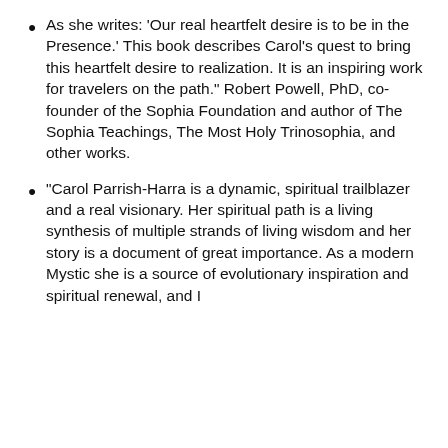As she writes: ‘Our real heartfelt desire is to be in the Presence.’ This book describes Carol’s quest to bring this heartfelt desire to realization. It is an inspiring work for travelers on the path.” Robert Powell, PhD, co-founder of the Sophia Foundation and author of The Sophia Teachings, The Most Holy Trinosophia, and other works.
“Carol Parrish-Harra is a dynamic, spiritual trailblazer and a real visionary. Her spiritual path is a living synthesis of multiple strands of living wisdom and her story is a document of great importance. As a modern Mystic she is a source of evolutionary inspiration and spiritual renewal, and I